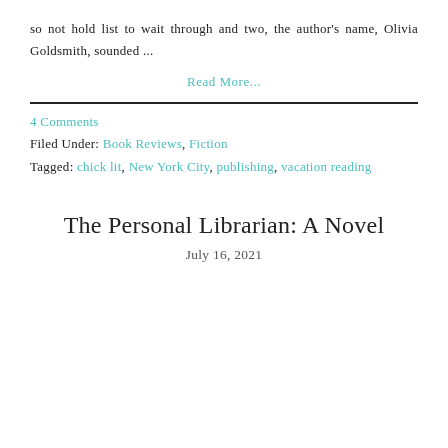so not hold list to wait through and two, the author's name, Olivia Goldsmith, sounded ...
Read More...
4 Comments
Filed Under: Book Reviews, Fiction
Tagged: chick lit, New York City, publishing, vacation reading
The Personal Librarian: A Novel
July 16, 2021